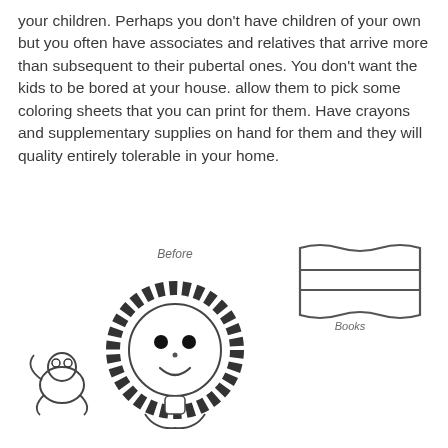your children. Perhaps you don't have children of your own but you often have associates and relatives that arrive more than subsequent to their pubertal ones. You don't want the kids to be bored at your house. allow them to pick some coloring sheets that you can print for them. Have crayons and supplementary supplies on hand for them and they will quality entirely tolerable in your home.
[Figure (illustration): A coloring book style illustration of a girl with curly hair holding a small animal (frog or toad), with a wavy flag shape to the upper right. Labels 'Before' and 'Books' appear near the flag.]